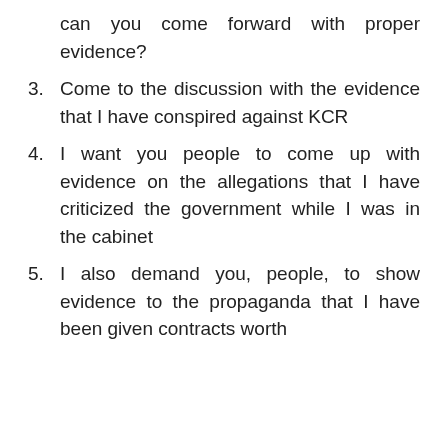can you come forward with proper evidence?
3. Come to the discussion with the evidence that I have conspired against KCR
4. I want you people to come up with evidence on the allegations that I have criticized the government while I was in the cabinet
5. I also demand you, people, to show evidence to the propaganda that I have been given contracts worth